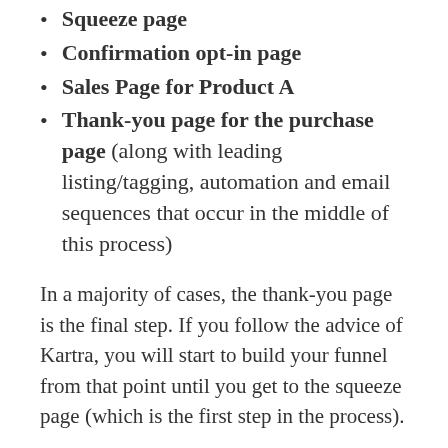Squeeze page
Confirmation opt-in page
Sales Page for Product A
Thank-you page for the purchase page (along with leading listing/tagging, automation and email sequences that occur in the middle of this process)
In a majority of cases, the thank-you page is the final step. If you follow the advice of Kartra, you will start to build your funnel from that point until you get to the squeeze page (which is the first step in the process).
While you can use the Page Builder to create aesthetically pleasing pages (there are numerous